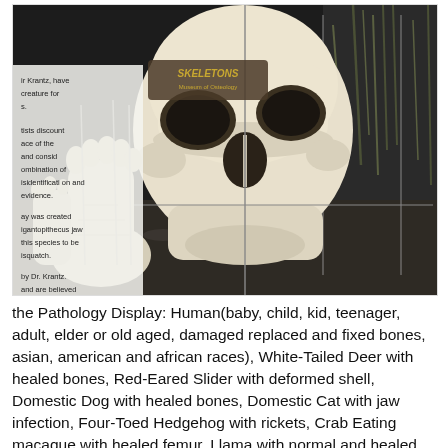[Figure (photo): A museum display at Skeletons: Museum of Osteology showing a large primate skull (front view, pale/cream colored) mounted on a dark surface, with a plaster cast of a large foot beside it, and a partially visible information placard on the left side]
the Pathology Display: Human(baby, child, kid, teenager, adult, elder or old aged, damaged replaced and fixed bones, asian, american and african races), White-Tailed Deer with healed bones, Red-Eared Slider with deformed shell, Domestic Dog with healed bones, Domestic Cat with jaw infection, Four-Toed Hedgehog with rickets, Crab Eating macaque with healed femur, Llama with normal and healed femurs and Cattle with deformed horns, with